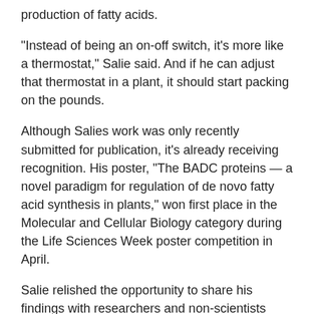production of fatty acids.
“Instead of being an on-off switch, it’s more like a thermostat,” Salie said. And if he can adjust that thermostat in a plant, it should start packing on the pounds.
Although Salies work was only recently submitted for publication, it’s already receiving recognition. His poster, “The BADC proteins — a novel paradigm for regulation of de novo fatty acid synthesis in plants,” won first place in the Molecular and Cellular Biology category during the Life Sciences Week poster competition in April.
Salie relished the opportunity to share his findings with researchers and non-scientists alike.
“It’s a great experience, because it helps you realize what’s really important about the work that your doing,” he said. “It also really encourages you to work harder. It’s like, ‘Wow,